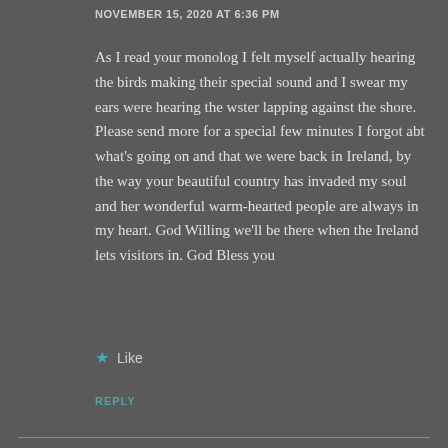NOVEMBER 15, 2020 AT 6:36 PM
As I read your monolog I felt myself actually hearing the birds making their special sound and I swear my ears were hearing the wster lapping against the shore. Please send more for a special few minutes I forgot abt what's going on and that we were back in Ireland, by the way your beautiful country has invaded my soul and her wonderful warm-hearted people are always in my heart. God Willing we'll be there when the Ireland lets visitors in. God Bless you
Like
REPLY